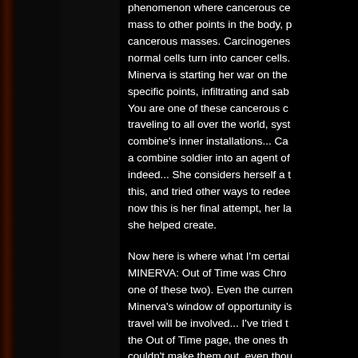phenomenon where cancerous ce... mass to other points in the body, p... cancerous masses. Carcinogenes... normal cells turn into cancer cells. Minerva is starting her war on the specific points, infiltrating and sab... You are one of these cancerous c... traveling to all over the world, syst... combine's inner installations... Ca... a combine soldier into an agent of indeed... She considers herself a t this, and tried other ways to redee... now this is her final attempt, her la... she helped create.
Now here is where what I'm certai... MINERVA: Out of Time was Chro... one of these two). Even the curren... Minerva's window of opportunity is travel will be involved... I've tried t... the Out of Time page, the ones th... couldn't make them out, even thou... with MINE...